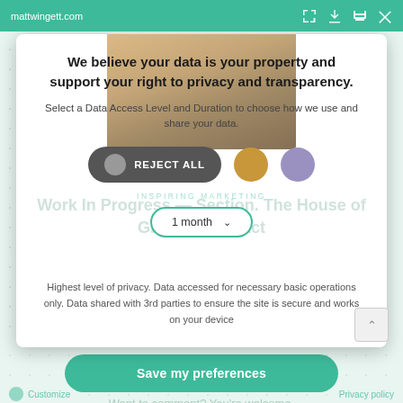mattwingett.com
We believe your data is your property and support your right to privacy and transparency.
Select a Data Access Level and Duration to choose how we use and share your data.
REJECT ALL
INSPIRING MARKETING
1 month
Work In Progress — Section. The House of Grain, an extract
Highest level of privacy. Data accessed for necessary basic operations only. Data shared with 3rd parties to ensure the site is secure and works on your device
Save my preferences
Want to comment? You're welcome.
Customize
Privacy policy